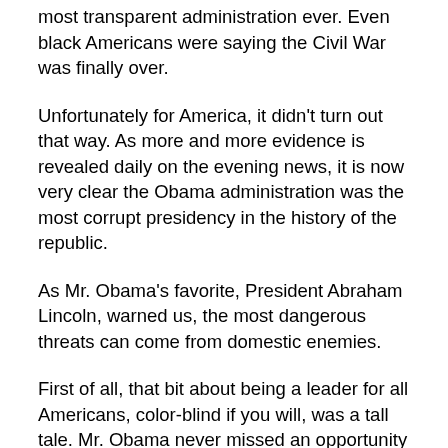most transparent administration ever. Even black Americans were saying the Civil War was finally over.
Unfortunately for America, it didn't turn out that way. As more and more evidence is revealed daily on the evening news, it is now very clear the Obama administration was the most corrupt presidency in the history of the republic.
As Mr. Obama's favorite, President Abraham Lincoln, warned us, the most dangerous threats can come from domestic enemies.
First of all, that bit about being a leader for all Americans, color-blind if you will, was a tall tale. Mr. Obama never missed an opportunity to sow racial divide. During his term in the Oval Office, racial relations literally went off the cliff. Mr. Obama and first lady Michelle promoted the false narrative that white America was literally guilty of hunting